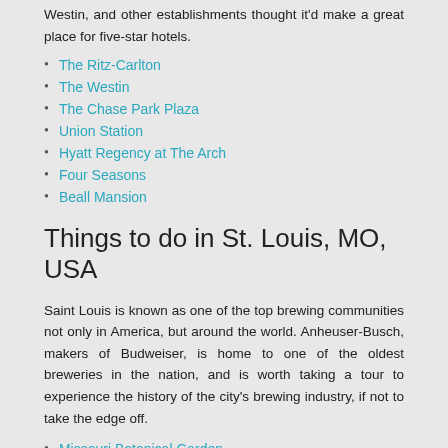Westin, and other establishments thought it'd make a great place for five-star hotels.
The Ritz-Carlton
The Westin
The Chase Park Plaza
Union Station
Hyatt Regency at The Arch
Four Seasons
Beall Mansion
Things to do in St. Louis, MO, USA
Saint Louis is known as one of the top brewing communities not only in America, but around the world. Anheuser-Busch, makers of Budweiser, is home to one of the oldest breweries in the nation, and is worth taking a tour to experience the history of the city's brewing industry, if not to take the edge off.
Missouri Botanical Garden
Saint Louis Zoo